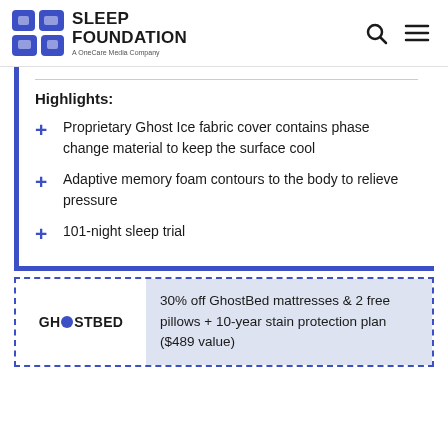SLEEP FOUNDATION — A OneCare Media Company
Highlights:
Proprietary Ghost Ice fabric cover contains phase change material to keep the surface cool
Adaptive memory foam contours to the body to relieve pressure
101-night sleep trial
30% off GhostBed mattresses & 2 free pillows + 10-year stain protection plan ($489 value)